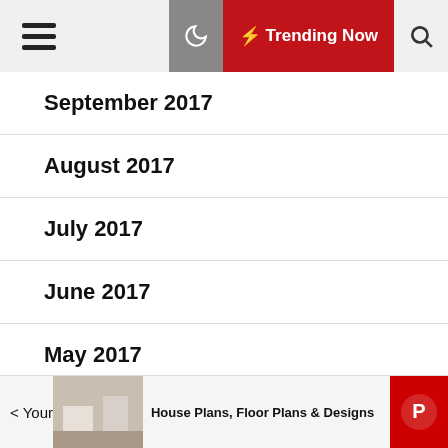Menu | Trending Now | Search
September 2017
August 2017
July 2017
June 2017
May 2017
April 2017
March 2017
Your | House Plans, Floor Plans & Designs